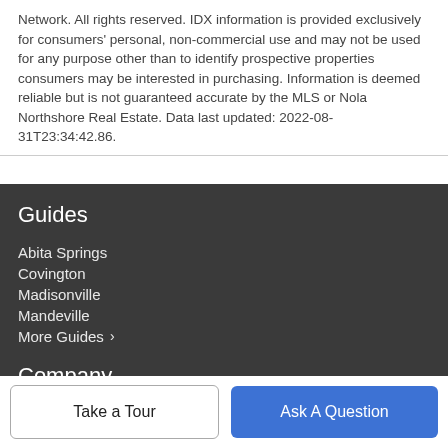Network. All rights reserved. IDX information is provided exclusively for consumers' personal, non-commercial use and may not be used for any purpose other than to identify prospective properties consumers may be interested in purchasing. Information is deemed reliable but is not guaranteed accurate by the MLS or Nola Northshore Real Estate. Data last updated: 2022-08-31T23:34:42.86.
Guides
Abita Springs
Covington
Madisonville
Mandeville
More Guides >
Company